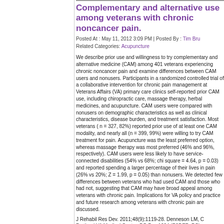Complementary and alternative medicine use among veterans with chronic noncancer pain.
Posted At : May 11, 2012 3:09 PM | Posted By : Tim Bru
Related Categories: Acupuncture
We describe prior use and willingness to try complementary and alternative medicine (CAM) among 401 veterans experiencing chronic noncancer pain and examine differences between CAM users and nonusers. Participants in a randomized controlled trial of a collaborative intervention for chronic pain management at Veterans Affairs (VA) primary care clinics self-reported prior CAM use, including chiropractic care, massage therapy, herbal medicines, and acupuncture. CAM users were compared with nonusers on demographic characteristics as well as clinical characteristics, disease burden, and treatment satisfaction. Most veterans ( n = 327, 82%) reported prior use of at least one CAM modality, and nearly all (n = 399, 99%) were willing to try CAM treatment for pain. Acupuncture was the least preferred option, whereas massage therapy was most preferred (46% and 96%, respectively). CAM users were less likely to have service-connected disabilities (54% vs 68%; chi square = 4.64, p = 0.03) and reported spending a larger percentage of their lives in pain (26% vs 20%; Z = 1.99, p = 0.05) than nonusers. We detected few differences between veterans who had used CAM and those who had not, suggesting that CAM may have broad appeal among veterans with chronic pain. Implications for VA policy and practice and future research among veterans with chronic pain are discussed.
J Rehabil Res Dev. 2011;48(9):1119-28. Denneson LM, C Portland VA Medical Center, PO Box 1034 (P3DEP_PC), lauren.denneson@va.gov.